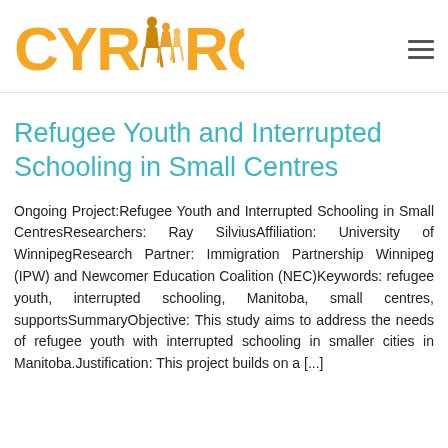[Figure (logo): CYRMRC logo with orange text and silhouette figures of people (family) between the M and R characters]
Refugee Youth and Interrupted Schooling in Small Centres
Ongoing Project:Refugee Youth and Interrupted Schooling in Small CentresResearchers: Ray SilviusAffiliation: University of WinnipegResearch Partner: Immigration Partnership Winnipeg (IPW) and Newcomer Education Coalition (NEC)Keywords: refugee youth, interrupted schooling, Manitoba, small centres, supportsSummaryObjective: This study aims to address the needs of refugee youth with interrupted schooling in smaller cities in Manitoba.Justification: This project builds on a [...]